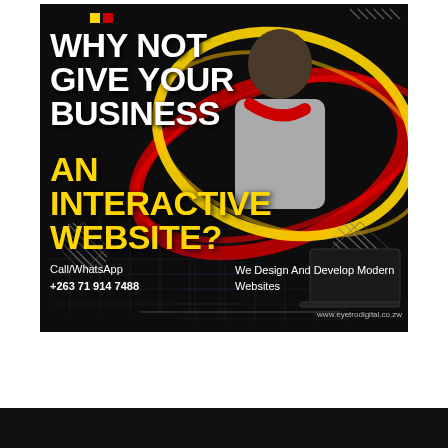[Figure (infographic): Black background advertisement with woman in grey jacket and red scarf, dynamic red and yellow swirling light streaks, laptop in lower right, decorative grid lines and hatched diamond shapes]
WHY NOT GIVE YOUR BUSINESS AN INTERACTIVE WEBSITE?
Call/WhatsApp
+263 71 914 7488
We Design And Develop Modern Websites
www.eyetrodigital.co.zw